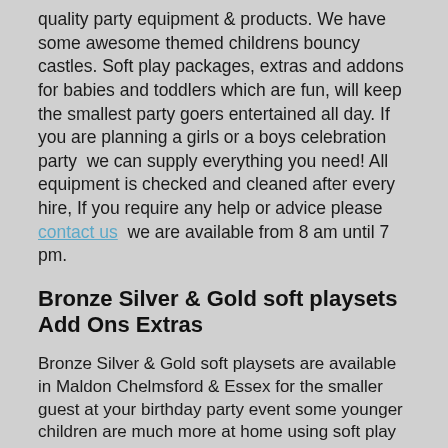quality party equipment & products. We have some awesome themed childrens bouncy castles. Soft play packages, extras and addons for babies and toddlers which are fun, will keep the smallest party goers entertained all day. If you are planning a girls or a boys celebration party  we can supply everything you need! All equipment is checked and cleaned after every hire, If you require any help or advice please contact us  we are available from 8 am until 7 pm.
Bronze Silver & Gold soft playsets Add Ons Extras
Bronze Silver & Gold soft playsets are available in Maldon Chelmsford & Essex for the smaller guest at your birthday party event some younger children are much more at home using soft play rather than going onto an inflatable bouncy castle. Castlemaniaessex is a specialist in Soft Play Hire parties in Essex Maldon and Chelmsford have small to Large and clean Soft Play Sets. Bronze Silver & Gold soft play ideal to keep babies and younger kids entertained can be set up indoors or outdoors. Summer months weather permitting best to have a backup plan if hiring outdoors